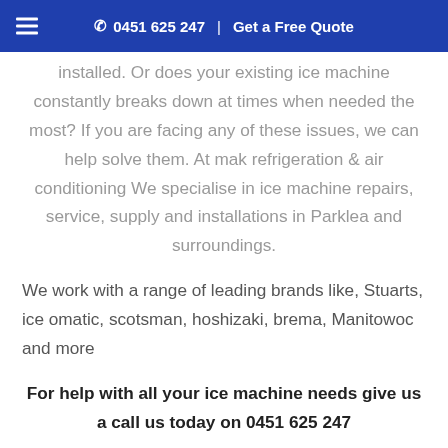☰  ✆ 0451 625 247   Get a Free Quote
installed. Or does your existing ice machine constantly breaks down at times when needed the most? If you are facing any of these issues, we can help solve them. At mak refrigeration & air conditioning We specialise in ice machine repairs, service, supply and installations in Parklea and surroundings.
We work with a range of leading brands like, Stuarts, ice omatic, scotsman, hoshizaki, brema, Manitowoc and more
For help with all your ice machine needs give us a call us today on 0451 625 247
Air Conditioning Repairs and